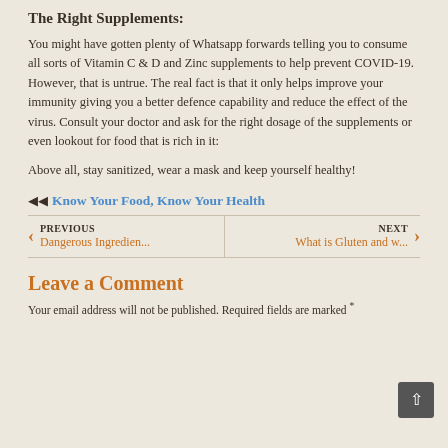The Right Supplements:
You might have gotten plenty of Whatsapp forwards telling you to consume all sorts of Vitamin C & D and Zinc supplements to help prevent COVID-19. However, that is untrue. The real fact is that it only helps improve your immunity giving you a better defence capability and reduce the effect of the virus. Consult your doctor and ask for the right dosage of the supplements or even lookout for food that is rich in it:
Above all, stay sanitized, wear a mask and keep yourself healthy!
◀◀ Know Your Food, Know Your Health
PREVIOUS
Dangerous Ingredien...
NEXT
What is Gluten and w...
Leave a Comment
Your email address will not be published. Required fields are marked *